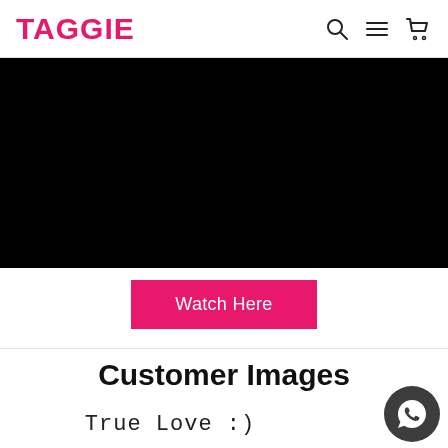TAGGIE
[Figure (screenshot): Black banner area (video player placeholder)]
Watch Here
Customer Images
True Love :)
[Figure (illustration): WhatsApp chat button icon (dark grey circle with white phone handset)]